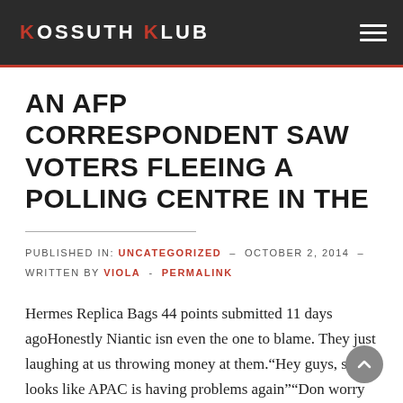KOSSUTH KLUB
AN AFP CORRESPONDENT SAW VOTERS FLEEING A POLLING CENTRE IN THE
PUBLISHED IN: UNCATEGORIZED – OCTOBER 2, 2014 – WRITTEN BY VIOLA - PERMALINK
Hermes Replica Bags 44 points submitted 11 days agoHonestly Niantic isn even the one to blame. They just laughing at us throwing money at them.“Hey guys, so it looks like APAC is having problems again”“Don worry about it, throw them some new shinies this week and it be ok, we